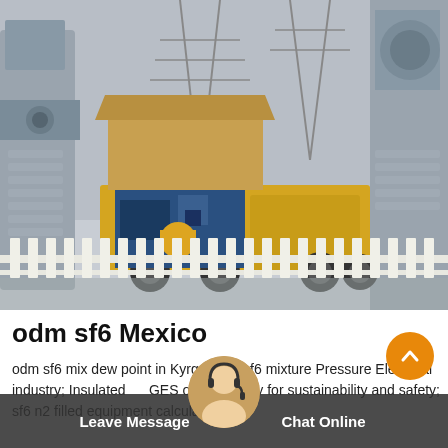[Figure (photo): Electrical substation with high-voltage transformers and a yellow service truck with an open equipment compartment, industrial infrastructure setting with power lines and white fence barriers in foreground.]
odm sf6 Mexico
odm sf6 mix dew point in Kyrgyzstan sf6 mixture Pressure Electrical industry; Insulated GES our company for sustainability and safety; sf6 n2 filled equipment calculator near